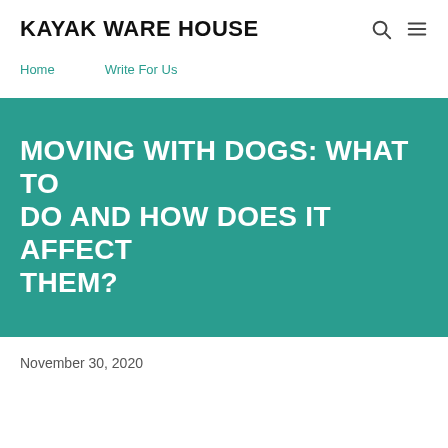KAYAK WARE HOUSE
Home
Write For Us
MOVING WITH DOGS: WHAT TO DO AND HOW DOES IT AFFECT THEM?
November 30, 2020